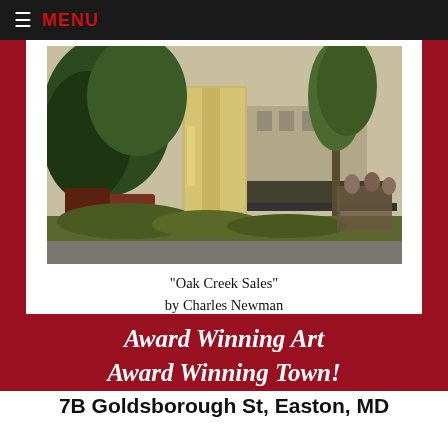≡ MENU
[Figure (illustration): Oil painting of 'Oak Creek Sales' showing a rustic outdoor scene with trees, old stone or wooden structures, a truck, and people, rendered in impressionistic style with greens, yellows, and earth tones.]
"Oak Creek Sales"
by Charles Newman
Award Winning Art
Award Winning Town!
7B Goldsborough St, Easton, MD